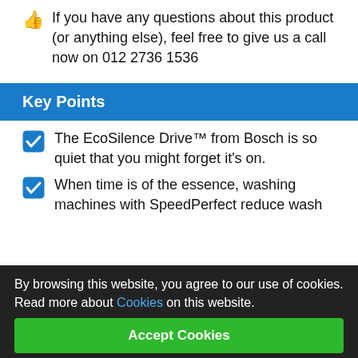If you have any questions about this product (or anything else), feel free to give us a call now on 012 2736 1536
Key Points
The EcoSilence Drive™ from Bosch is so quiet that you might forget it's on.
When time is of the essence, washing machines with SpeedPerfect reduce wash
By browsing this website, you agree to our use of cookies. Read more about Cookies on this website.
Accept Cookies